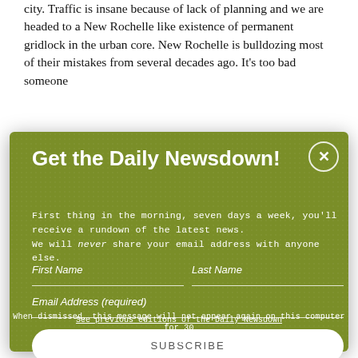city. Traffic is insane because of lack of planning and we are headed to a New Rochelle like existence of permanent gridlock in the urban core. New Rochelle is bulldozing most of their mistakes from several decades ago. It's too bad someone
Get the Daily Newsdown!
First thing in the morning, seven days a week, you'll receive a rundown of the latest news.
We will never share your email address with anyone else.
First Name
Last Name
Email Address (required)
SUBSCRIBE
See previous editions of the Daily Newsdown
When dismissed, this message will not appear again on this computer for 30 days